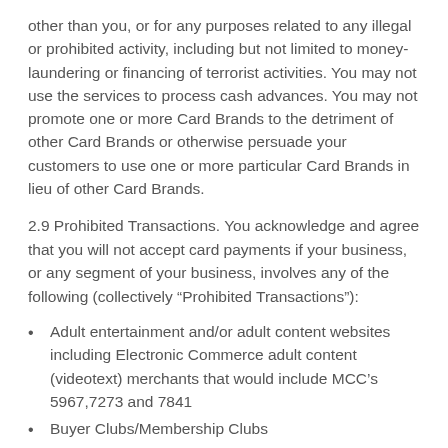other than you, or for any purposes related to any illegal or prohibited activity, including but not limited to money-laundering or financing of terrorist activities. You may not use the services to process cash advances. You may not promote one or more Card Brands to the detriment of other Card Brands or otherwise persuade your customers to use one or more particular Card Brands in lieu of other Card Brands.
2.9 Prohibited Transactions. You acknowledge and agree that you will not accept card payments if your business, or any segment of your business, involves any of the following (collectively "Prohibited Transactions"):
Adult entertainment and/or adult content websites including Electronic Commerce adult content (videotext) merchants that would include MCC's 5967,7273 and 7841
Buyer Clubs/Membership Clubs
Direct Marketing: Continuity or Subscription services or merchants including MCC 5968 and 5969
Direct Marketing-Travel Related Arrangement Services including MCC 5962